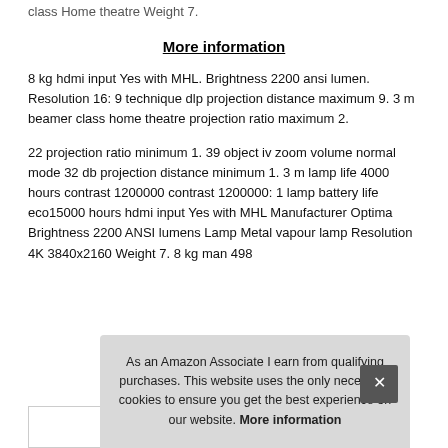class Home theatre Weight 7.
More information
8 kg hdmi input Yes with MHL. Brightness 2200 ansi lumen. Resolution 16: 9 technique dlp projection distance maximum 9. 3 m beamer class home theatre projection ratio maximum 2.
22 projection ratio minimum 1. 39 object iv zoom volume normal mode 32 db projection distance minimum 1. 3 m lamp life 4000 hours contrast 1200000 contrast 1200000: 1 lamp battery life eco15000 hours hdmi input Yes with MHL Manufacturer Optima Brightness 2200 ANSI lumens Lamp Metal vapour lamp Resolution 4K 3840x2160 Weight 7. 8 kg man 498
As an Amazon Associate I earn from qualifying purchases. This website uses the only necessary cookies to ensure you get the best experience on our website. More information